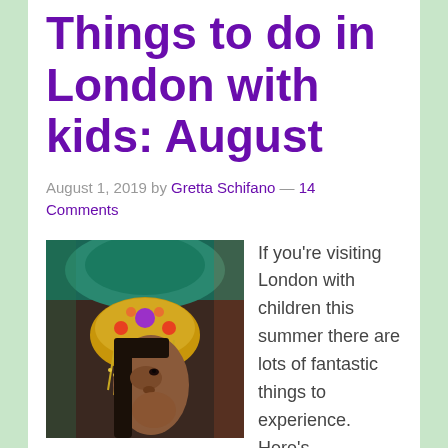Things to do in London with kids: August
August 1, 2019 by Gretta Schifano — 14 Comments
[Figure (photo): A young girl wearing an ornate golden and jeweled headdress, photographed at what appears to be a carnival or festival.]
If you're visiting London with children this summer there are lots of fantastic things to experience. Here's my pick of the best things to see and do in the city for August 2019 – let me know if you have any tips to add. Kids Week Kids